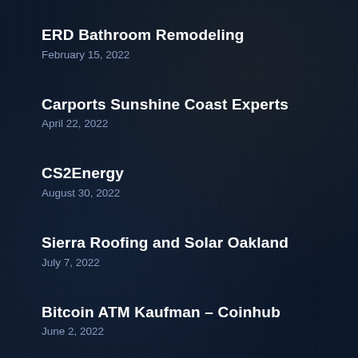ERD Bathroom Remodeling
February 15, 2022
Carports Sunshine Coast Experts
April 22, 2022
CS2Energy
August 30, 2022
Sierra Roofing and Solar Oakland
July 7, 2022
Bitcoin ATM Kaufman – Coinhub
June 2, 2022